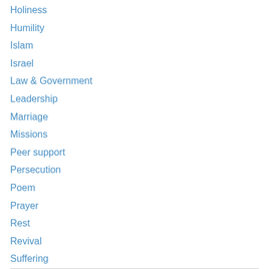Holiness
Humility
Islam
Israel
Law & Government
Leadership
Marriage
Missions
Peer support
Persecution
Poem
Prayer
Rest
Revival
Suffering
Testimony
Uncategorized